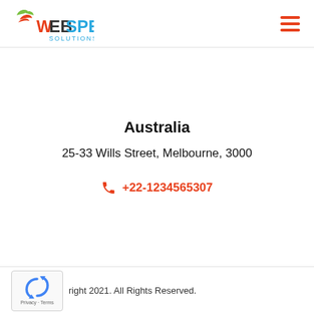Webspero Solutions
Australia
25-33 Wills Street, Melbourne, 3000
+22-1234565307
right 2021. All Rights Reserved.